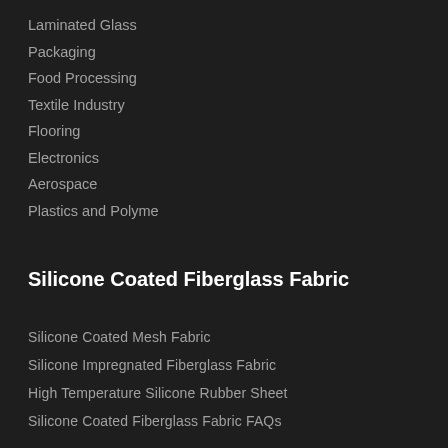Laminated Glass
Packaging
Food Processing
Textile Industry
Flooring
Electronics
Aerospace
Plastics and Polyme
Silicone Coated Fiberglass Fabric
Silicone Coated Mesh Fabric
Silicone Impregnated Fiberglass Fabric
High Temperature Silicone Rubber Sheet
Silicone Coated Fiberglass Fabric FAQs